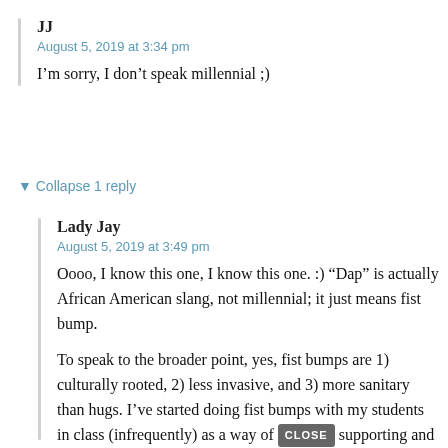JJ
August 5, 2019 at 3:34 pm
I’m sorry, I don’t speak millennial ;)
▼ Collapse 1 reply
Lady Jay
August 5, 2019 at 3:49 pm
Oooo, I know this one, I know this one. :) “Dap” is actually African American slang, not millennial; it just means fist bump.
To speak to the broader point, yes, fist bumps are 1) culturally rooted, 2) less invasive, and 3) more sanitary than hugs. I’ve started doing fist bumps with my students in class (infrequently) as a way of supporting and celebrating their good answers.